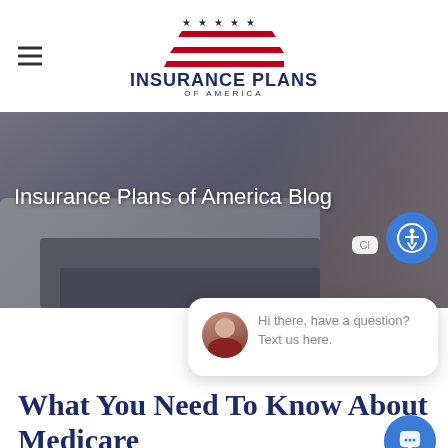Insurance Plans of America
[Figure (screenshot): Hero banner image showing hands typing on a laptop with a phone and tablet on a desk, overlaid with text 'Insurance Plans of America Blog' and a chat popup]
What You Need To Know About Medicare